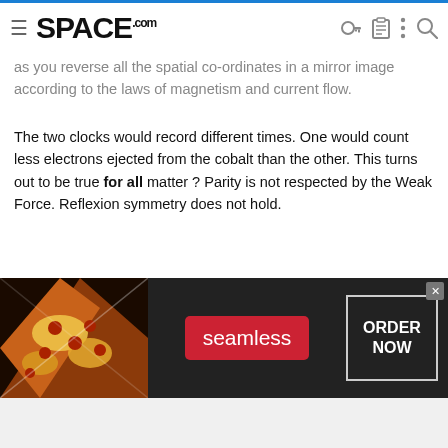SPACE.com
as you reverse all the spatial co-ordinates in a mirror image according to the laws of magnetism and current flow.
The two clocks would record different times. One would count less electrons ejected from the cobalt than the other. This turns out to be true for all matter ? Parity is not respected by the Weak Force. Reflexion symmetry does not hold.
Feynman's hypothesis is that matter comes in all 4 forms .... following diagrams.
[Figure (photo): Seamless food delivery advertisement banner with pizza image, Seamless logo button, and ORDER NOW box]